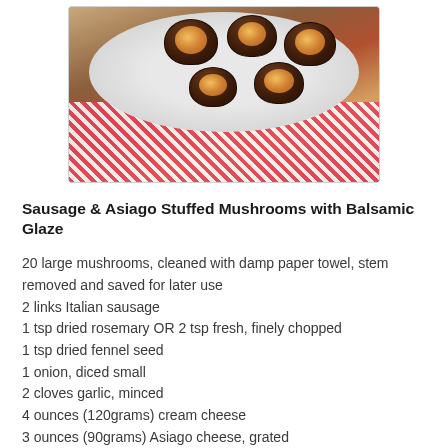[Figure (photo): Stuffed mushrooms on a white plate with a red and white checkered cloth underneath]
Sausage & Asiago Stuffed Mushrooms with Balsamic Glaze
20 large mushrooms, cleaned with damp paper towel, stem removed and saved for later use
2 links Italian sausage
1 tsp dried rosemary OR 2 tsp fresh, finely chopped
1 tsp dried fennel seed
1 onion, diced small
2 cloves garlic, minced
4 ounces (120grams) cream cheese
3 ounces (90grams) Asiago cheese, grated
2 tbsp olive oil